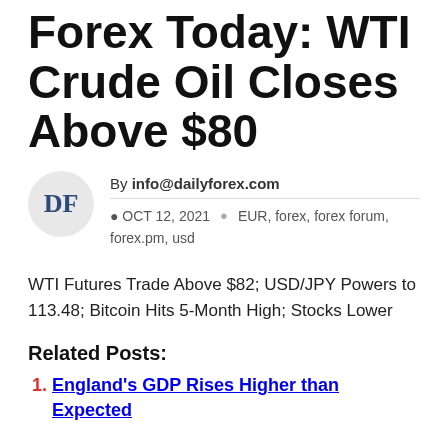Forex Today: WTI Crude Oil Closes Above $80
By info@dailyforex.com
OCT 12, 2021   EUR, forex, forex forum, forex.pm, usd
WTI Futures Trade Above $82; USD/JPY Powers to 113.48; Bitcoin Hits 5-Month High; Stocks Lower
Related Posts:
England's GDP Rises Higher than Expected